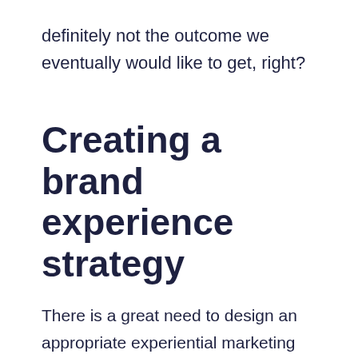definitely not the outcome we eventually would like to get, right?
Creating a brand experience strategy
There is a great need to design an appropriate experiential marketing strategy to make your company even more appealing. To help you in this quite a tough issue, we've